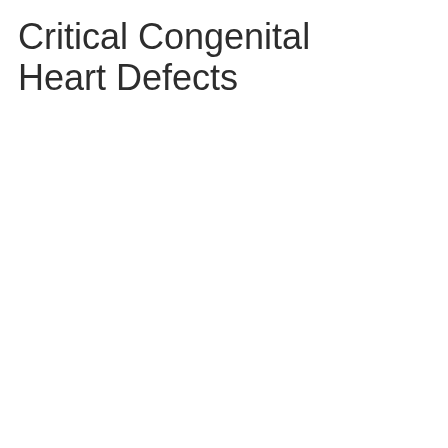Critical Congenital Heart Defects